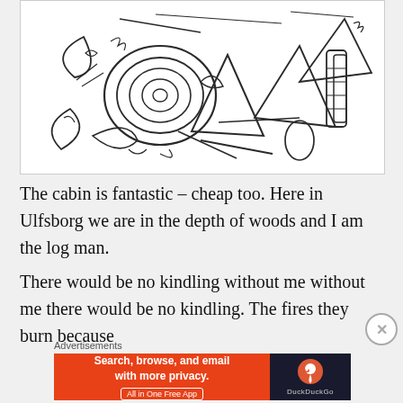[Figure (illustration): A hand-drawn pencil sketch showing abstract shapes including what appears to be logs, pinecones, and kindling wood arranged in a loose pile.]
The cabin is fantastic – cheap too. Here in Ulfsborg we are in the depth of woods and I am the log man.
There would be no kindling without me without me there would be no kindling. The fires they burn because
Advertisements
[Figure (screenshot): DuckDuckGo advertisement: Search, browse, and email with more privacy. All in One Free App. DuckDuckGo logo on dark background.]